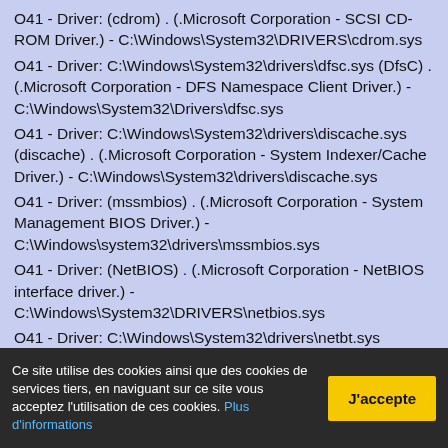O41 - Driver: (cdrom) . (.Microsoft Corporation - SCSI CD-ROM Driver.) - C:\Windows\System32\DRIVERS\cdrom.sys
O41 - Driver: C:\Windows\System32\drivers\dfsc.sys (DfsC) . (.Microsoft Corporation - DFS Namespace Client Driver.) - C:\Windows\System32\Drivers\dfsc.sys
O41 - Driver: C:\Windows\System32\drivers\discache.sys (discache) . (.Microsoft Corporation - System Indexer/Cache Driver.) - C:\Windows\System32\drivers\discache.sys
O41 - Driver: (mssmbios) . (.Microsoft Corporation - System Management BIOS Driver.) - C:\Windows\system32\drivers\mssmbios.sys
O41 - Driver: (NetBIOS) . (.Microsoft Corporation - NetBIOS interface driver.) - C:\Windows\System32\DRIVERS\netbios.sys
O41 - Driver: C:\Windows\System32\drivers\netbt.sys (NetBT) . (.Microsoft Corporation - MBT Transport driver.) - C:\Windows\System32\DRIVERS\netbt.sys
O41 - Driver: C:\Windows\System32\drivers\nsiproxy.sys (nsiproxy) . (.Microsoft Corporation - NSI Proxy.) - C:\Windows\System32\drivers\nsiproxy.sys
Ce site utilise des cookies ainsi que des cookies de services tiers, en naviguant sur ce site vous acceptez l'utilisation de ces cookies. Plus d'informations
J'accepte